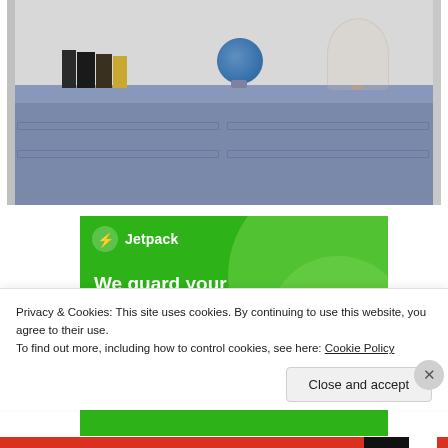[Figure (photo): Photo of a blue-grey painted dresser with books, a globe, and a lamp on top, viewed from slightly above. The dresser has a distressed painted finish.]
[Figure (screenshot): Jetpack advertisement banner on green background with text 'We guard your WordPress site. You run your business.' and Jetpack logo at top.]
Privacy & Cookies: This site uses cookies. By continuing to use this website, you agree to their use.
To find out more, including how to control cookies, see here: Cookie Policy
Close and accept